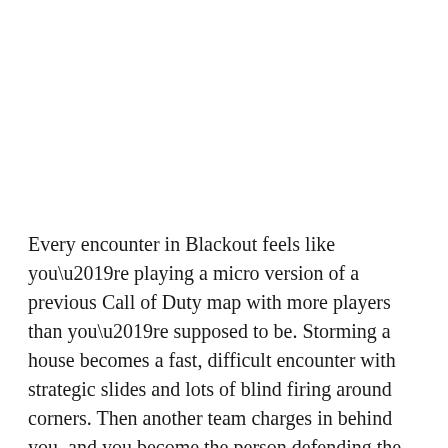Every encounter in Blackout feels like you’re playing a micro version of a previous Call of Duty map with more players than you’re supposed to be. Storming a house becomes a fast, difficult encounter with strategic slides and lots of blind firing around corners. Then another team charges in behind you, and you become the person defending the house, and the whole thing is over in thirty seconds. This just isn’t how other battle royale games work, and frankly, it’s just the right level of strategy and commitment for me. This might be the optimal way to think about battle royale